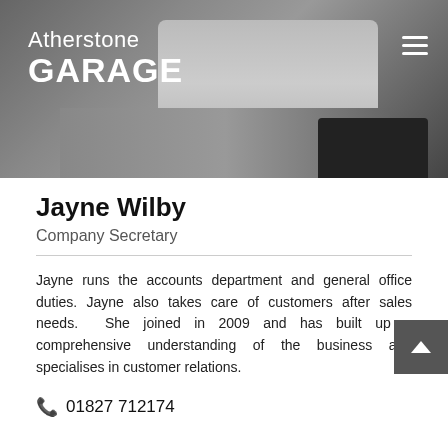[Figure (photo): A woman sitting at a desk with a laptop, papers, and a cup. Atherstone Garage logo and hamburger menu overlay the top of the photo.]
Jayne Wilby
Company Secretary
Jayne runs the accounts department and general office duties. Jayne also takes care of customers after sales needs. She joined in 2009 and has built up a comprehensive understanding of the business and specialises in customer relations.
01827 712174